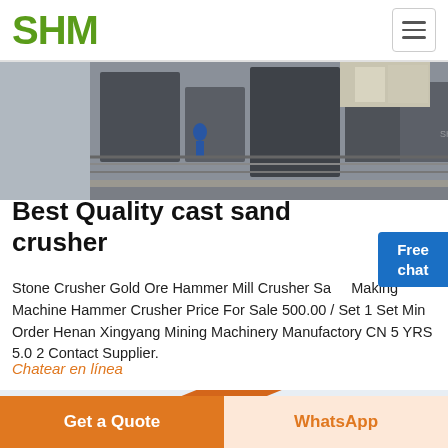SHM
[Figure (photo): Industrial stone crusher machinery facility, overhead view with workers and equipment visible]
Best Quality cast sand crusher
Stone Crusher Gold Ore Hammer Mill Crusher Sand Making Machine Hammer Crusher Price For Sale 500.00 / Set 1 Set Min Order Henan Xingyang Mining Machinery Manufactory CN 5 YRS 5.0 2 Contact Supplier.
Chatear en línea
[Figure (photo): Orange industrial steel conveyor belt structure against white sky]
Get a Quote
WhatsApp